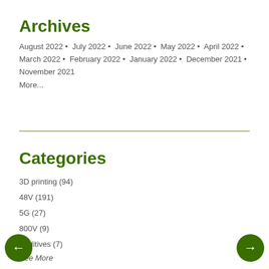Archives
August 2022 • July 2022 • June 2022 • May 2022 • April 2022 • March 2022 • February 2022 • January 2022 • December 2021 • November 2021
More...
Categories
3D printing (94)
48V (191)
5G (27)
800V (9)
Additives (7)
See More